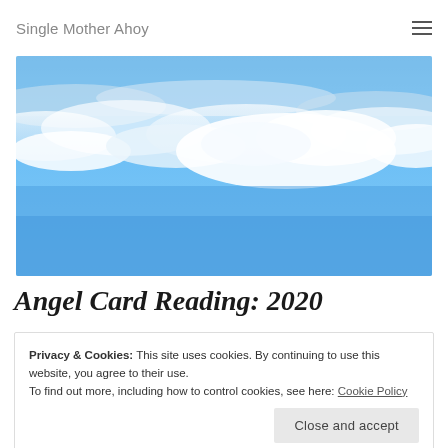Single Mother Ahoy
[Figure (photo): Sky photo showing blue sky with white clouds, viewed from above or at altitude, bright daylight.]
Angel Card Reading: 2020
Privacy & Cookies: This site uses cookies. By continuing to use this website, you agree to their use.
To find out more, including how to control cookies, see here: Cookie Policy
Close and accept